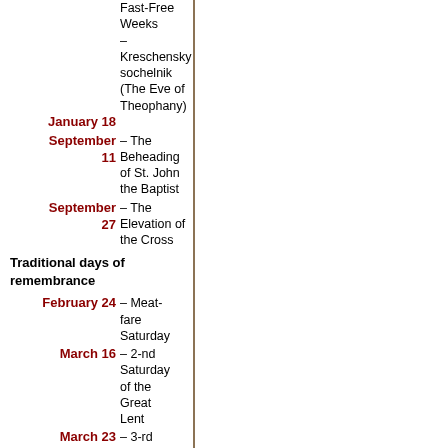Fast-Free Weeks – Kreschensky sochelnik (The Eve of Theophany)
January 18 – Kreschensky sochelnik (The Eve of Theophany)
September 11 – The Beheading of St. John the Baptist
September 27 – The Elevation of the Cross
Traditional days of remembrance
February 24 – Meat-fare Saturday
March 16 – 2-nd Saturday of the Great Lent
March 23 – 3-rd Saturday of the Great Lent
– 4-th Saturday of the Great Lent